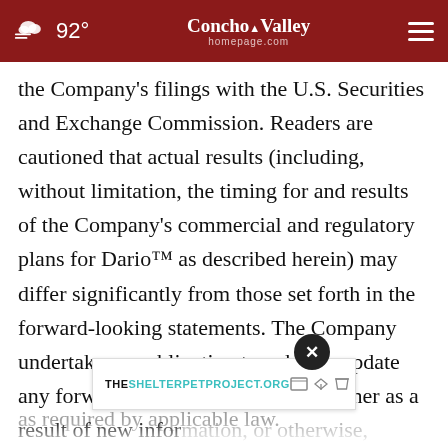92° Concho Valley homepage.com
the Company's filings with the U.S. Securities and Exchange Commission. Readers are cautioned that actual results (including, without limitation, the timing for and results of the Company's commercial and regulatory plans for Dario™ as described herein) may differ significantly from those set forth in the forward-looking statements. The Company undertakes no obligation to publicly update any forward-looking statements, whether as a result of new information, or otherwise, except as required by applicable law.